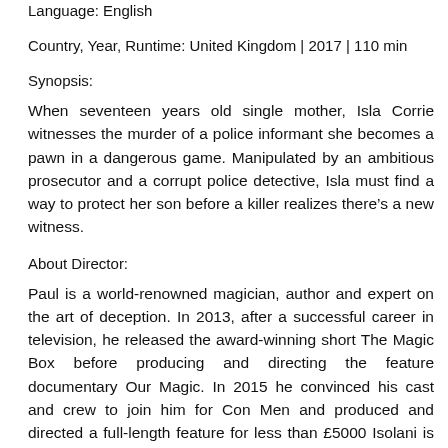Language: English
Country, Year, Runtime: United Kingdom | 2017 | 110 min
Synopsis:
When seventeen years old single mother, Isla Corrie witnesses the murder of a police informant she becomes a pawn in a dangerous game. Manipulated by an ambitious prosecutor and a corrupt police detective, Isla must find a way to protect her son before a killer realizes there’s a new witness.
About Director:
Paul is a world-renowned magician, author and expert on the art of deception. In 2013, after a successful career in television, he released the award-winning short The Magic Box before producing and directing the feature documentary Our Magic. In 2015 he convinced his cast and crew to join him for Con Men and produced and directed a full-length feature for less than £5000 Isolani is his second